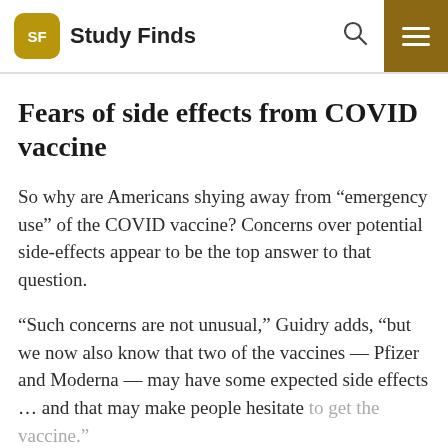Study Finds
Fears of side effects from COVID vaccine
So why are Americans shying away from “emergency use” of the COVID vaccine? Concerns over potential side-effects appear to be the top answer to that question.
“Such concerns are not unusual,” Guidry adds, “but we now also know that two of the vaccines — Pfizer and Moderna — may have some expected side effects … and that may make people hesitate to get the vaccine.”